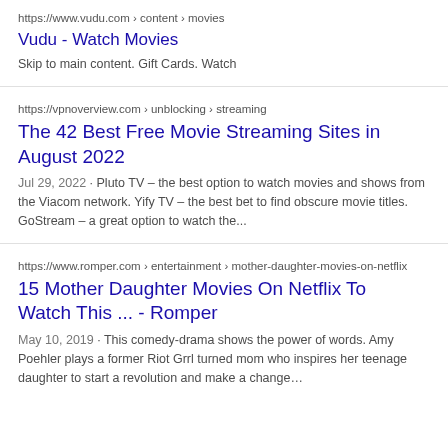https://www.vudu.com › content › movies
Vudu - Watch Movies
Skip to main content. Gift Cards. Watch
https://vpnoverview.com › unblocking › streaming
The 42 Best Free Movie Streaming Sites in August 2022
Jul 29, 2022 · Pluto TV – the best option to watch movies and shows from the Viacom network. Yify TV – the best bet to find obscure movie titles. GoStream – a great option to watch the...
https://www.romper.com › entertainment › mother-daughter-movies-on-netflix
15 Mother Daughter Movies On Netflix To Watch This ... - Romper
May 10, 2019 · This comedy-drama shows the power of words. Amy Poehler plays a former Riot Grrl turned mom who inspires her teenage daughter to start a revolution and make a change…